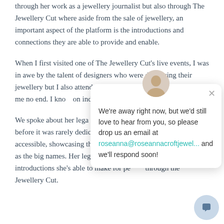through her work as a jewellery journalist but also through The Jewellery Cut where aside from the sale of jewellery, an important aspect of the platform is the introductions and connections they are able to provide and enable.
When I first visited one of The Jewellery Cut's live events, I was in awe by the talent of designers who were displaying their jewellery but I also attended every talk of the day and it inspired me no end. I know on independent designers
We spoke about her legacy work is making jewellery where before it was rarely dedicated jewellery maga make jewellery accessible, showcasing the independent small designers as well as the big names. Her legacy is also the connections and introductions she's able to make for people through the Jewellery Cut.
[Figure (screenshot): Chat popup overlay showing an away message with avatar photo, close button (×), message text 'We're away right now, but we'd still love to hear from you, so please drop us an email at roseanna@roseannacroftjewel... and we'll respond soon!', and a chat bubble icon button at bottom right.]